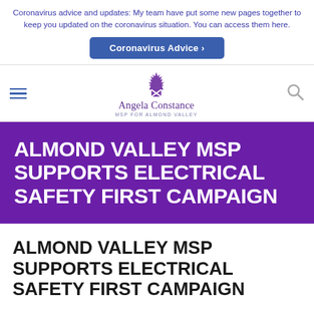Coronavirus advice and updates: My team have put some new pages together to keep you updated on the coronavirus situation. You can access them here.
Coronavirus Advice >
[Figure (logo): Angela Constance MSP for Almond Valley logo with crown and saltire crest]
ALMOND VALLEY MSP SUPPORTS ELECTRICAL SAFETY FIRST CAMPAIGN
ALMOND VALLEY MSP SUPPORTS ELECTRICAL SAFETY FIRST CAMPAIGN